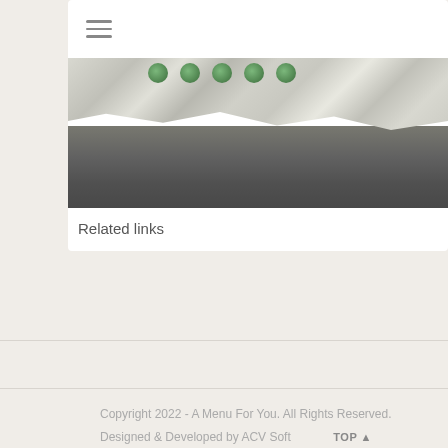[Figure (photo): A photo showing crinkled silver foil or paper with green leaf/plant elements at the top, against a dark grey textured background below]
Related links
Copyright 2022 - A Menu For You. All Rights Reserved.
Designed & Developed by ACV Soft   TOP ^